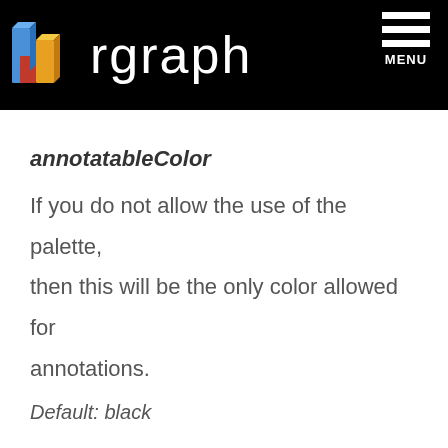rgraph MENU
annotatableColor
If you do not allow the use of the palette, then this will be the only color allowed for annotations.
Default: black
annotatableLinewidth
This is the linewidth of the annotations.